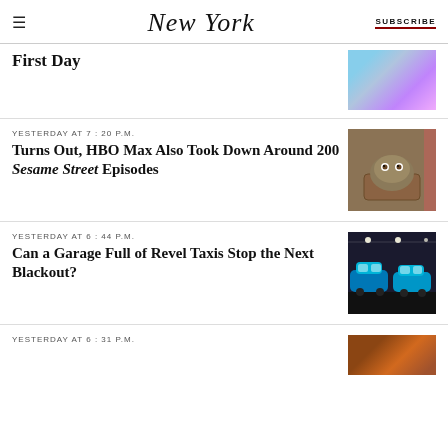NEW YORK | SUBSCRIBE
First Day
[Figure (photo): Ballet dancers legs on stage]
YESTERDAY AT 7:20 P.M.
Turns Out, HBO Max Also Took Down Around 200 Sesame Street Episodes
[Figure (photo): Oscar the Grouch in trash can]
YESTERDAY AT 6:44 P.M.
Can a Garage Full of Revel Taxis Stop the Next Blackout?
[Figure (photo): Blue electric taxis in a parking garage]
YESTERDAY AT 6:31 P.M.
[Figure (photo): Partial image at bottom of page]